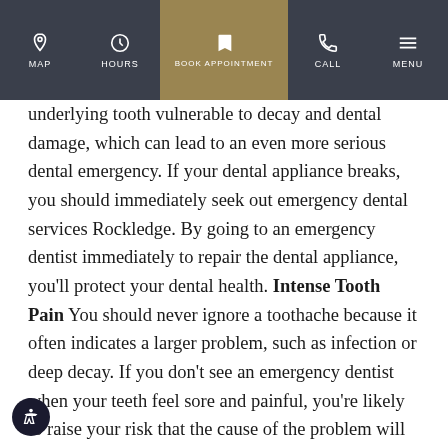MAP | HOURS | BOOK APPOINTMENT | CALL | MENU
underlying tooth vulnerable to decay and dental damage, which can lead to an even more serious dental emergency. If your dental appliance breaks, you should immediately seek out emergency dental services Rockledge. By going to an emergency dentist immediately to repair the dental appliance, you'll protect your dental health. Intense Tooth Pain You should never ignore a toothache because it often indicates a larger problem, such as infection or deep decay. If you don't see an emergency dentist when your teeth feel sore and painful, you're likely to raise your risk that the cause of the problem will spread. If you have severe tooth pain, protect your dental health by promptly seeking emergency dental services Rockledge. To get the dental care you deserve from an affordable dentist in Rockledge, call today at or make an appointment. offers affordable family dentistry and gentle, compassionate dental care in